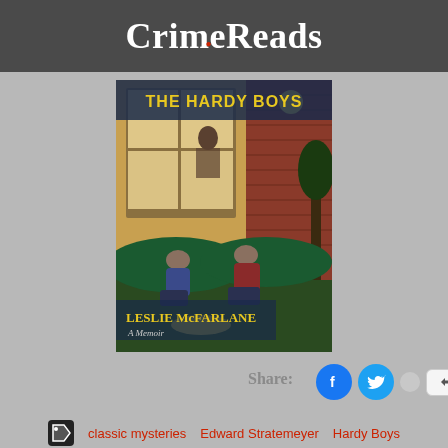CrimeReads
[Figure (illustration): Book cover of 'The Hardy Boys: A Memoir' by Leslie McFarlane. Two boys crouching in bushes outside a brick house at night, looking through a lit window. Yellow title text at top on dark blue background, author name in yellow at bottom.]
Share:
[Figure (other): Social share buttons: Facebook (blue circle with f), Twitter (blue circle with bird), grey dot, and a 'More' button]
classic mysteries   Edward Stratemeyer   Hardy Boys